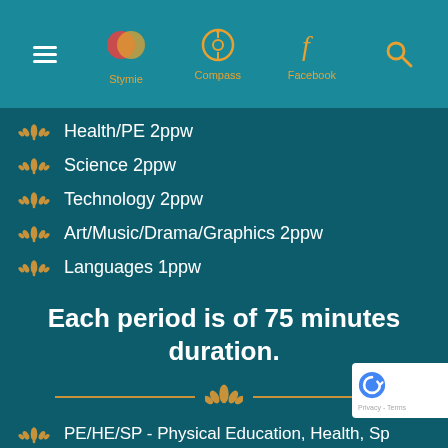Stymie  Compass  Facebook
Health/PE 2ppw
Science 2ppw
Technology 2ppw
Art/Music/Drama/Graphics 2ppw
Languages 1ppw
Each period is of 75 minutes duration.
PE/HE/SP - Physical Education, Health, Sp...